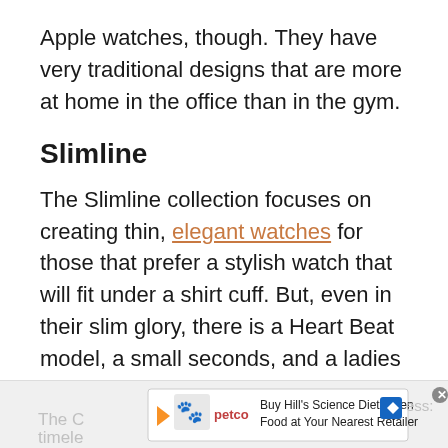Apple watches, though. They have very traditional designs that are more at home in the office than in the gym.
Slimline
The Slimline collection focuses on creating thin, elegant watches for those that prefer a stylish watch that will fit under a shirt cuff. But, even in their slim glory, there is a Heart Beat model, a small seconds, and a ladies moonphase.
Classics
The C... ess: timele...